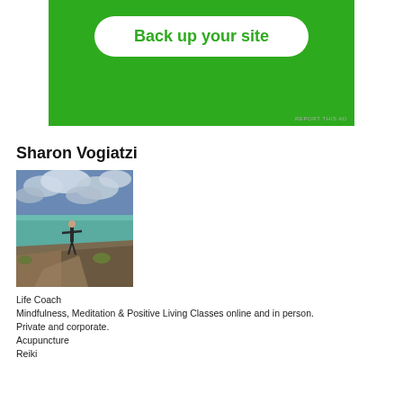[Figure (other): Green advertisement banner with white rounded button saying 'Back up your site' and small 'REPORT THIS AD' text at bottom right]
Sharon Vogiatzi
[Figure (photo): Outdoor photo of a person standing on a coastal cliff path with arms outstretched, turquoise sea and dramatic cloudy sky in background]
Life Coach
Mindfulness, Meditation & Positive Living Classes online and in person.
Private and corporate.
Acupuncture
Reiki